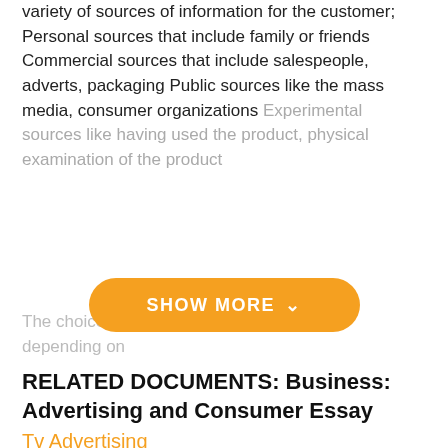variety of sources of information for the customer; Personal sources that include family or friends Commercial sources that include salespeople, adverts, packaging Public sources like the mass media, consumer organizations Experimental sources like having used the product, physical examination of the product
[Figure (other): Orange 'SHOW MORE' button with chevron, overlaid on faded text]
RELATED DOCUMENTS: Business: Advertising and Consumer Essay
Tv Advertising
insertion of ads on TV. Food, clothes-everything you can think of-are presented on television. Advertising "as the name suggests is the meaning of" advertised ". TV